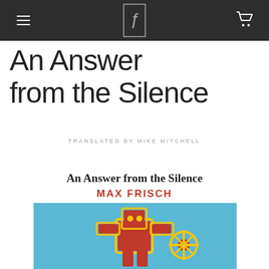An Answer from the Silence (navigation bar with logo)
An Answer from the Silence
TRANSLATED BY MIKE MITCHELL
An Answer from the Silence
MAX FRISCH
[Figure (illustration): Colorful book cover with red and yellow illustrated figure on blue background]